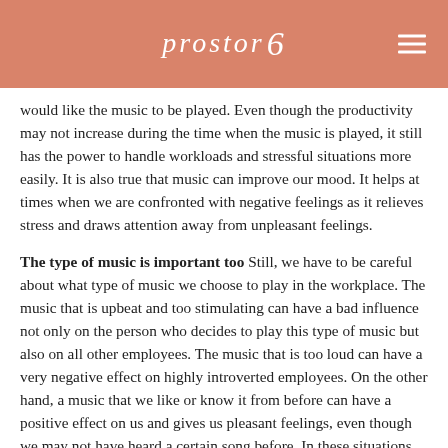prostor6
would like the music to be played. Even though the productivity may not increase during the time when the music is played, it still has the power to handle workloads and stressful situations more easily. It is also true that music can improve our mood. It helps at times when we are confronted with negative feelings as it relieves stress and draws attention away from unpleasant feelings.
The type of music is important too Still, we have to be careful about what type of music we choose to play in the workplace. The music that is upbeat and too stimulating can have a bad influence not only on the person who decides to play this type of music but also on all other employees. The music that is too loud can have a very negative effect on highly introverted employees. On the other hand, a music that we like or know it from before can have a positive effect on us and gives us pleasant feelings, even though we may not have heard a certain song before. In these situations, music can be very beneficial. Interestingly, listening to such music ensures greater concentration and focus on work. If we work in an open space with many colleagues, where there are no walls or sound barriers in between, it would be considerate to take care of